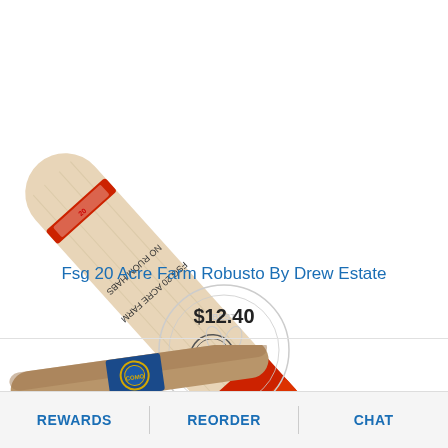[Figure (photo): A cigar (FSG 20 Acre Farm Robusto by Drew Estate) displayed diagonally against a white background. The cigar has a light wood-colored wrapper with text written along the body, a red cigar band near the top, and a red cap. A watermark 'BEST PRICES' appears in the center of the image. A magnify/search icon button is in the bottom right corner.]
Fsg 20 Acre Farm Robusto By Drew Estate
$12.40
[Figure (photo): Partial view of another cigar product at the bottom of the page, showing a brown cigar with a blue and gold band.]
REWARDS    REORDER    CHAT